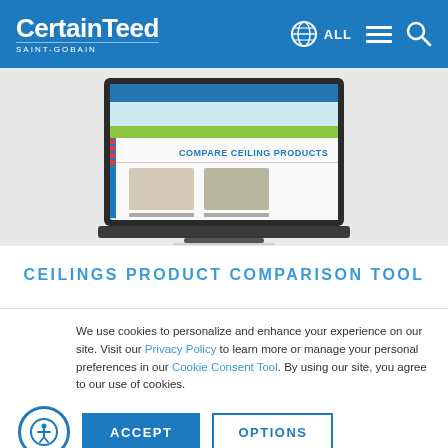[Figure (logo): CertainTeed Saint-Gobain logo in white on blue header]
[Figure (screenshot): Laptop computer displaying CertainTeed website Compare Ceiling Products comparison tool]
CEILINGS PRODUCT COMPARISON TOOL
We use cookies to personalize and enhance your experience on our site. Visit our Privacy Policy to learn more or manage your personal preferences in our Cookie Consent Tool. By using our site, you agree to our use of cookies.
ACCEPT
OPTIONS